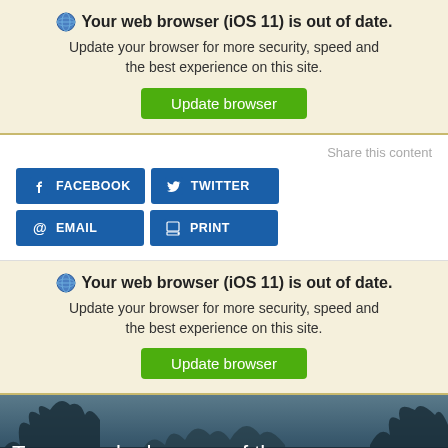Your web browser (iOS 11) is out of date. Update your browser for more security, speed and the best experience on this site. Update browser
Share this content
FACEBOOK
TWITTER
EMAIL
PRINT
Your web browser (iOS 11) is out of date. Update your browser for more security, speed and the best experience on this site. Update browser
Tampa ranked as one of the top 5 moving destinations
[Figure (photo): Dark blue-toned image of trees and sky, used as background for Tampa article header]